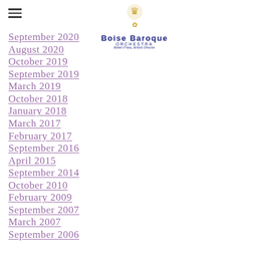Boise Baroque Orchestra — Robert Franz, Artistic Director
September 2020
August 2020
October 2019
September 2019
March 2019
October 2018
January 2018
March 2017
February 2017
September 2016
April 2015
September 2014
October 2010
February 2009
September 2007
March 2007
September 2006